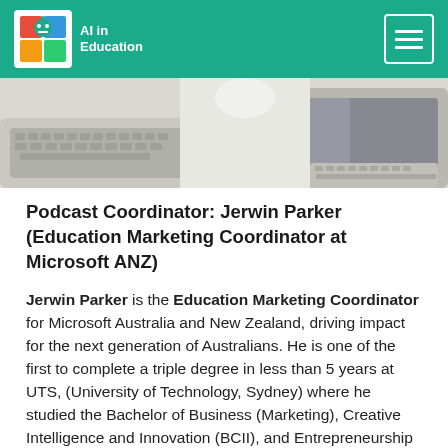AI in Education
[Figure (photo): Photo of laptops and tablets on a desk, viewed from above, in a bright workspace setting.]
Podcast Coordinator: Jerwin Parker (Education Marketing Coordinator at Microsoft ANZ)
Jerwin Parker is the Education Marketing Coordinator for Microsoft Australia and New Zealand, driving impact for the next generation of Australians. He is one of the first to complete a triple degree in less than 5 years at UTS, (University of Technology, Sydney) where he studied the Bachelor of Business (Marketing), Creative Intelligence and Innovation (BCII), and Entrepreneurship (Honours) at UTS. His interest in Artificial Intelligence comes from his experience and contribution to the Human Rights and Technology project, and enjoys working with Dan, Lee